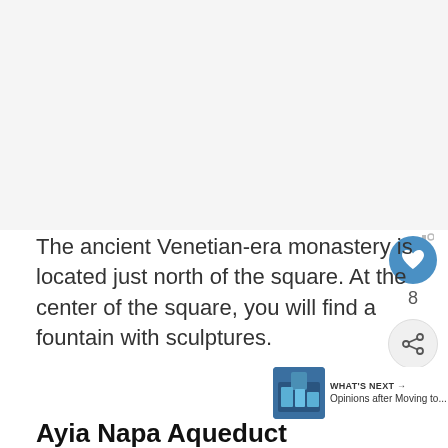[Figure (photo): Light gray area at top representing an image placeholder]
The ancient Venetian-era monastery is located just north of the square. At the center of the square, you will find a fountain with sculptures.
Ayia Napa Aqueduct
Th... provide wa... Water...
[Figure (screenshot): Advertisement banner: Give support to people recovering from crisis. Make a year-end donation.]